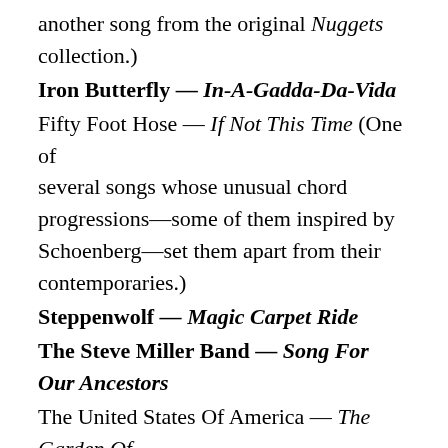and with Stull on guitar, and another song from the original Nuggets collection.)
Iron Butterfly — In-A-Gadda-Da-Vida
Fifty Foot Hose — If Not This Time (One of several songs whose unusual chord progressions—some of them inspired by Schoenberg—set them apart from their contemporaries.)
Steppenwolf — Magic Carpet Ride
The Steve Miller Band — Song For Our Ancestors
The United States Of America — The Garden Of Earthly Delights (A paean to poisonous love with a title borrowed from Bosch.)
Tommy James And The Shondells — Crimson And Clover
White Lightning — William